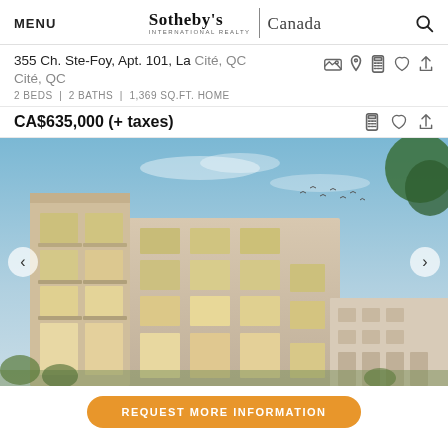MENU | Sotheby's INTERNATIONAL REALTY | Canada [search icon]
355 Ch. Ste-Foy, Apt. 101, La Cité, QC
Cité, QC
2 BEDS | 2 BATHS | 1,369 SQ.FT. HOME
CA$635,000 (+ taxes)
[Figure (photo): Exterior rendering of a modern multi-story condominium building with large windows, balconies, and light stone facade against a blue sky with birds and trees]
REQUEST MORE INFORMATION